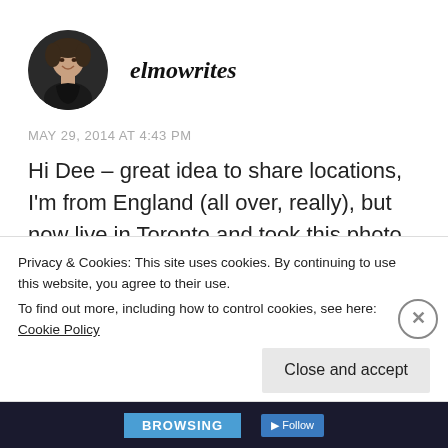[Figure (photo): Circular avatar photo of a woman smiling, dark background, used as commenter profile picture]
elmowrites
MAY 29, 2014 AT 4:43 PM
Hi Dee – great idea to share locations, I'm from England (all over, really), but now live in Toronto and took this photo on a visit to Cornell,
Privacy & Cookies: This site uses cookies. By continuing to use this website, you agree to their use.
To find out more, including how to control cookies, see here: Cookie Policy
Close and accept
BROWSING